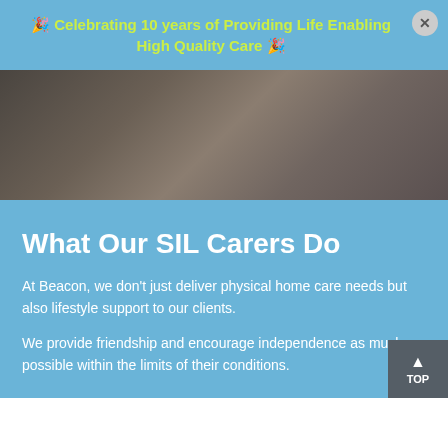🎉 Celebrating 10 years of Providing Life Enabling High Quality Care 🎉
[Figure (photo): Dark brownish-grey background image, possibly a close-up texture or landscape, used as a hero banner image.]
What Our SIL Carers Do
At Beacon, we don't just deliver physical home care needs but also lifestyle support to our clients.
We provide friendship and encourage independence as much as possible within the limits of their conditions.